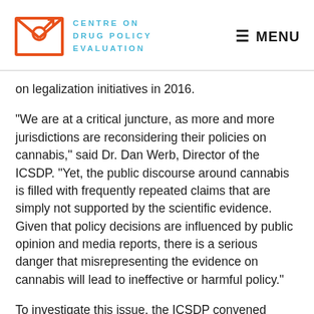CENTRE ON DRUG POLICY EVALUATION | MENU
on legalization initiatives in 2016.
“We are at a critical juncture, as more and more jurisdictions are reconsidering their policies on cannabis,” said Dr. Dan Werb, Director of the ICSDP. “Yet, the public discourse around cannabis is filled with frequently repeated claims that are simply not supported by the scientific evidence. Given that policy decisions are influenced by public opinion and media reports, there is a serious danger that misrepresenting the evidence on cannabis will lead to ineffective or harmful policy.”
To investigate this issue, the ICSDP convened